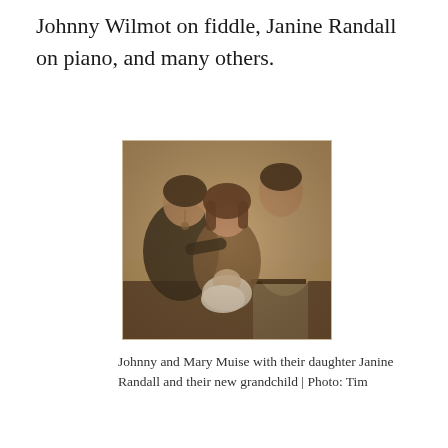Johnny Wilmot on fiddle, Janine Randall on piano, and many others.
[Figure (photo): Vintage sepia photograph of Johnny and Mary Muise with their daughter Janine Randall and their new grandchild. Three adults seated/standing on a couch, the woman in the center holding a newborn baby.]
Johnny and Mary Muise with their daughter Janine Randall and their new grandchild | Photo: Tim